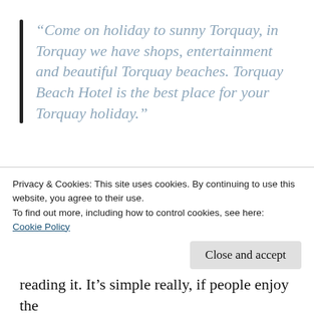“Come on holiday to sunny Torquay, in Torquay we have shops, entertainment and beautiful Torquay beaches. Torquay Beach Hotel is the best place for your Torquay holiday.”
It doesn’t read very well does it? Even more importantly, Google’s algorithms (the programs that undertake searches) recognise keyword stuffing and penalise websites that
Privacy & Cookies: This site uses cookies. By continuing to use this website, you agree to their use.
To find out more, including how to control cookies, see here:
Cookie Policy
Close and accept
reading it. It’s simple really, if people enjoy the